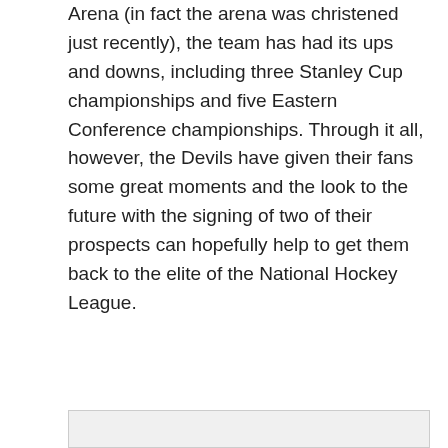Arena (in fact the arena was christened just recently), the team has had its ups and downs, including three Stanley Cup championships and five Eastern Conference championships. Through it all, however, the Devils have given their fans some great moments and the look to the future with the signing of two of their prospects can hopefully help to get them back to the elite of the National Hockey League.
[Figure (other): Twitter Tweet button (blue rounded rectangle with bird icon and 'Tweet' text)]
ARCHIVES
[Figure (screenshot): A dropdown select box labeled 'Select Month' with a chevron/arrow on the right side]